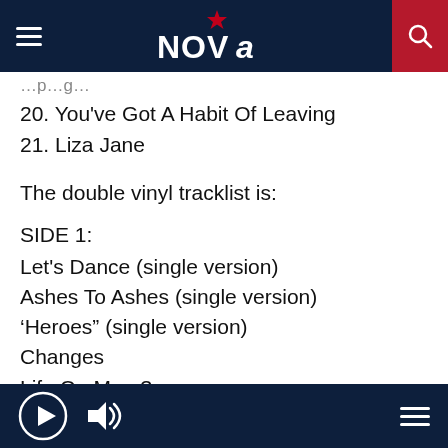NOVA
20. You've Got A Habit Of Leaving
21. Liza Jane
The double vinyl tracklist is:
SIDE 1:
Let's Dance (single version)
Ashes To Ashes (single version)
'Heroes" (single version)
Changes
Life On Mars?
SIDE 2